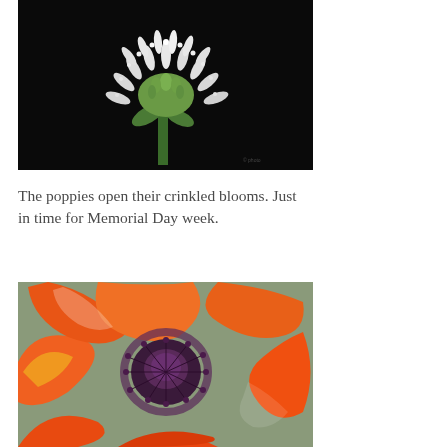[Figure (photo): Close-up photograph of a white allium or ornamental onion flower head against a black background, with delicate white florets spreading in a spherical cluster on a green stem.]
The poppies open their crinkled blooms. Just in time for Memorial Day week.
[Figure (photo): Close-up macro photograph of an orange poppy flower with a dark purple/black central seed pod surrounded by dark stamens, with vivid orange-red petals filling the frame.]